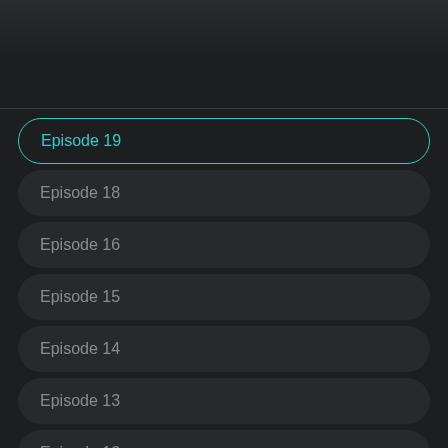Episode 19
Episode 18
Episode 16
Episode 15
Episode 14
Episode 13
Episode 12
Episode 11